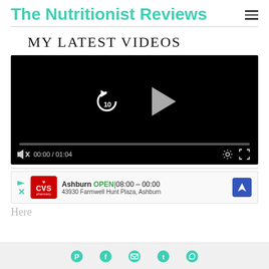The Nutritionist Reviews
MY LATEST VIDEOS
[Figure (screenshot): Embedded video player with black background, replay button showing '10', play triangle button, progress bar, muted speaker icon, time display '00:00 / 01:04', settings gear icon, and fullscreen icon]
[Figure (screenshot): CVS Pharmacy advertisement banner: Ashburn OPEN 08:00-00:00, 43930 Farmwell Hunt Plaza, Ashburn, with navigation arrow icon]
Here
Social media icons: Pinterest, Facebook, Email, Twitter, WhatsApp